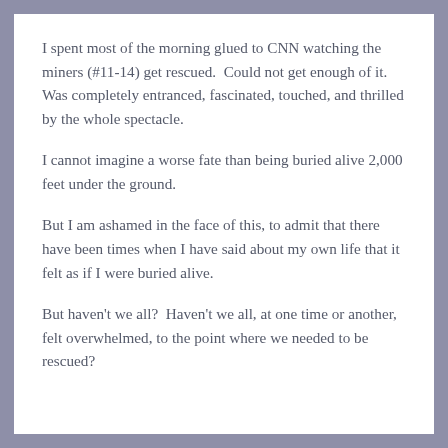I spent most of the morning glued to CNN watching the miners (#11-14) get rescued.  Could not get enough of it.  Was completely entranced, fascinated, touched, and thrilled by the whole spectacle.
I cannot imagine a worse fate than being buried alive 2,000 feet under the ground.
But I am ashamed in the face of this, to admit that there have been times when I have said about my own life that it felt as if I were buried alive.
But haven't we all?  Haven't we all, at one time or another, felt overwhelmed, to the point where we needed to be rescued?